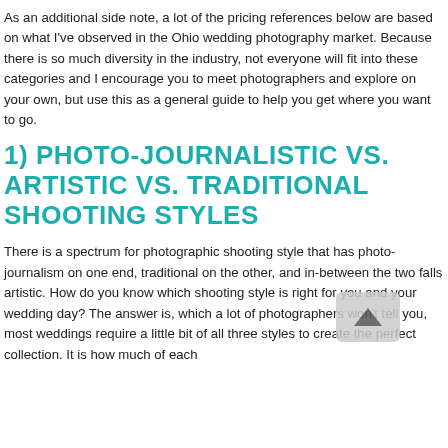As an additional side note, a lot of the pricing references below are based on what I've observed in the Ohio wedding photography market. Because there is so much diversity in the industry, not everyone will fit into these categories and I encourage you to meet photographers and explore on your own, but use this as a general guide to help you get where you want to go.
1) PHOTO-JOURNALISTIC VS. ARTISTIC VS. TRADITIONAL SHOOTING STYLES
There is a spectrum for photographic shooting style that has photo-journalism on one end, traditional on the other, and in-between the two falls artistic. How do you know which shooting style is right for you and your wedding day? The answer is, which a lot of photographers won't tell you, most weddings require a little bit of all three styles to create the perfect collection. It is how much of each